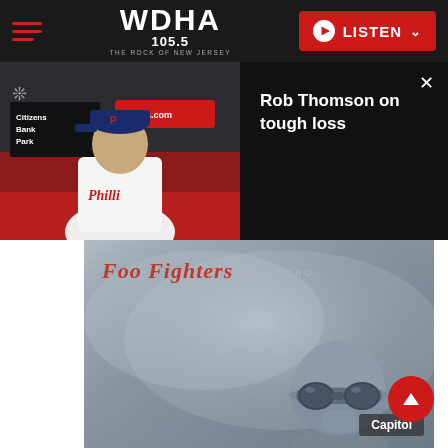WDHA 105.5 - THE ROCK OF NEW JERSEY | LISTEN
[Figure (screenshot): Video thumbnail of Rob Thomson (Philadelphia Phillies manager) at a press conference with Citizens Bank Park signage visible]
Rob Thomson on tough loss
[Figure (photo): Foo Fighters 'My Hero' single album art showing a figure wearing a helmet and goggles in a misty grey background. Artist name 'Foo Fighters' in red italic script with 'MY HERO' text. Capitol label watermark.]